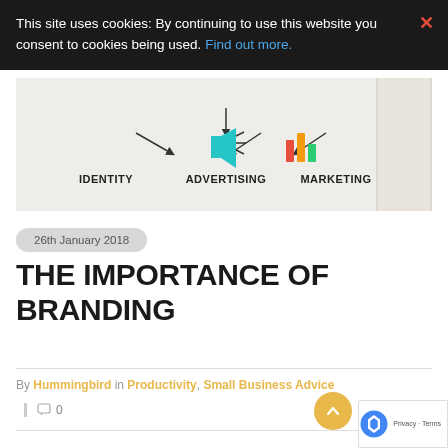This site uses cookies: By continuing to use this website you consent to cookies being used. Find out more.
[Figure (photo): Branding concept image showing IDENTITY, ADVERTISING, and MARKETING labels with arrows pointing to icons including a megaphone and bar chart, on a light background with a notebook]
26th January 2018
THE IMPORTANCE OF BRANDING
By Hummingbird in Productivity, Small Business Advice
0